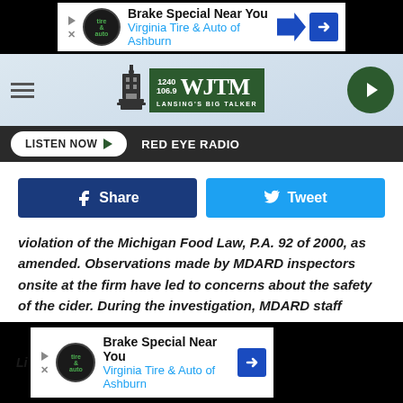[Figure (screenshot): Advertisement banner: Brake Special Near You - Virginia Tire & Auto of Ashburn, top of page]
[Figure (logo): WJTM 1240/106.9 Lansing's Talk Talker radio station logo with capitol building icon]
[Figure (screenshot): Listen Now button with red eye radio station label navigation bar]
[Figure (screenshot): Facebook Share and Twitter Tweet social sharing buttons]
violation of the Michigan Food Law, P.A. 92 of 2000, as amended. Observations made by MDARD inspectors onsite at the firm have led to concerns about the safety of the cider. During the investigation, MDARD staff issued a cease and desist order to ensure no additional product leaves the premises.
[Figure (screenshot): Advertisement banner at bottom: Brake Special Near You - Virginia Tire & Auto of Ashburn]